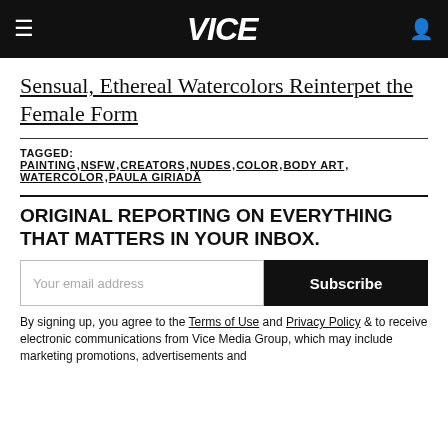VICE
Sensual, Ethereal Watercolors Reinterpet the Female Form
TAGGED: PAINTING , NSFW , CREATORS , NUDES , COLOR , BODY ART , WATERCOLOR , PAULA GIRIADĂ
ORIGINAL REPORTING ON EVERYTHING THAT MATTERS IN YOUR INBOX.
Your email address  Subscribe
By signing up, you agree to the Terms of Use and Privacy Policy & to receive electronic communications from Vice Media Group, which may include marketing promotions, advertisements and